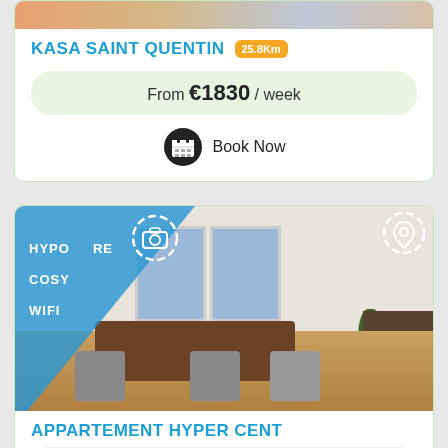[Figure (photo): Top partial image of first listing card - blurred/cropped apartment photo at top]
KASA SAINT QUENTIN 25.8Km
From €1830 / week
Book Now
[Figure (photo): Apartment interior photo showing bright dining room with table, chairs, plants, and large windows. Blue triangle overlay in top-left with labels: HYPER CENTRE, COSY, WIFI. Camera icon and pin icon overlays visible.]
APPARTEMENT HYPER CENT
From €1498 / week